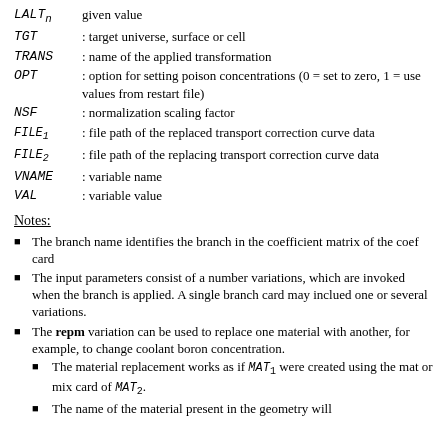LALT_n : given value
TGT : target universe, surface or cell
TRANS : name of the applied transformation
OPT : option for setting poison concentrations (0 = set to zero, 1 = use values from restart file)
NSF : normalization scaling factor
FILE_1 : file path of the replaced transport correction curve data
FILE_2 : file path of the replacing transport correction curve data
VNAME : variable name
VAL : variable value
Notes:
The branch name identifies the branch in the coefficient matrix of the coef card
The input parameters consist of a number variations, which are invoked when the branch is applied. A single branch card may inclued one or several variations.
The repm variation can be used to replace one material with another, for example, to change coolant boron concentration.
The material replacement works as if MAT_1 were created using the mat or mix card of MAT_2.
The name of the material present in the geometry will